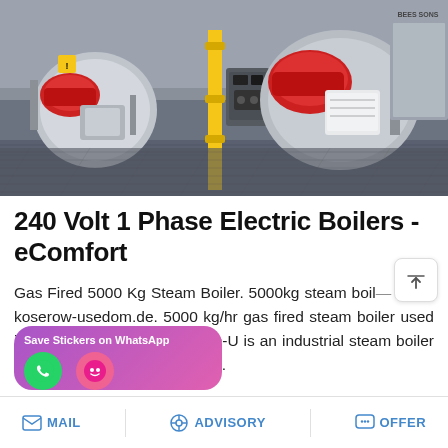[Figure (photo): Industrial boiler room with multiple red gas-fired steam boilers on a metal floor. Yellow vertical pipes visible. Gray electrical control panel in center. Equipment labels and warning stickers on machines.]
240 Volt 1 Phase Electric Boilers - eComfort
Gas Fired 5000 Kg Steam Boiler. 5000kg steam boiler fewo-koserow-usedom.de. 5000 kg/hr gas fired steam boiler used in industry . Liming · The THD-U is an industrial steam boiler producing 500 to 5000 kg/hr …
[Figure (screenshot): WhatsApp sticker save banner with purple-pink gradient background showing 'Save Stickers on WhatsApp' text with green WhatsApp phone icon circle and pink emoji face circle]
MAIL   ADVISORY   OFFER